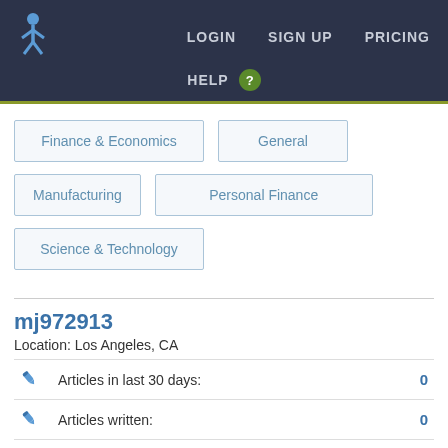LOGIN  SIGN UP  PRICING  HELP
Finance & Economics
General
Manufacturing
Personal Finance
Science & Technology
mj972913
Location: Los Angeles, CA
|  | Metric | Value |
| --- | --- | --- |
| ✎ | Articles in last 30 days: | 0 |
| ✎ | Articles written: | 0 |
| ✗ | Writer drop rate: | 0% |